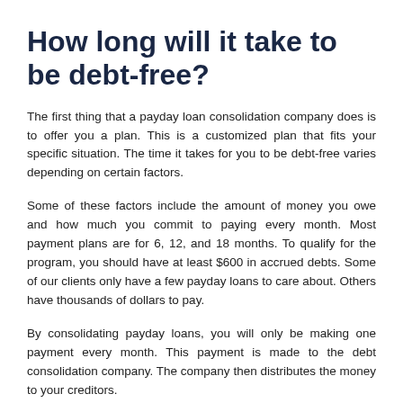How long will it take to be debt-free?
The first thing that a payday loan consolidation company does is to offer you a plan. This is a customized plan that fits your specific situation. The time it takes for you to be debt-free varies depending on certain factors.
Some of these factors include the amount of money you owe and how much you commit to paying every month. Most payment plans are for 6, 12, and 18 months. To qualify for the program, you should have at least $600 in accrued debts. Some of our clients only have a few payday loans to care about. Others have thousands of dollars to pay.
By consolidating payday loans, you will only be making one payment every month. This payment is made to the debt consolidation company. The company then distributes the money to your creditors.